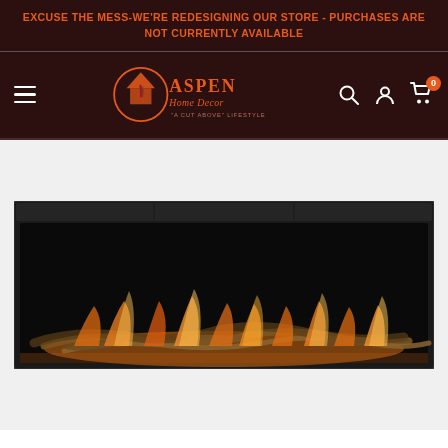EXCUSE THE MESS-WE'RE REDESIGNING OUR STORE - PURCHASES ARE NOT CURRENTLY AVAILABLE
[Figure (logo): Aspen Home Decor logo with house and plant icon, orange text on dark brown background]
[Figure (photo): Wide electric fireplace insert with glowing orange/amber flames and driftwood logs, black frame, shown against white background]